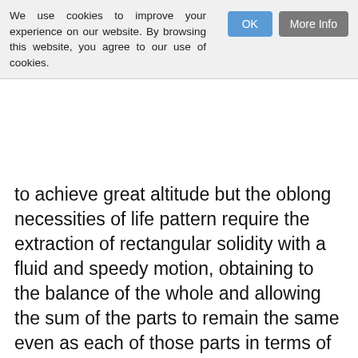We use cookies to improve your experience on our website. By browsing this website, you agree to our use of cookies.
to achieve great altitude but the oblong necessities of life pattern require the extraction of rectangular solidity with a fluid and speedy motion, obtaining to the balance of the whole and allowing the sum of the parts to remain the same even as each of those parts in terms of truth value shifts defiantly along a vertical to table axis. It is a story about balance, architecture, restraint and Michael Caine crying.
I have assembled the most wooden cast I could find, including Jude Law, Ryan Reynolds and Chris Pine, though the